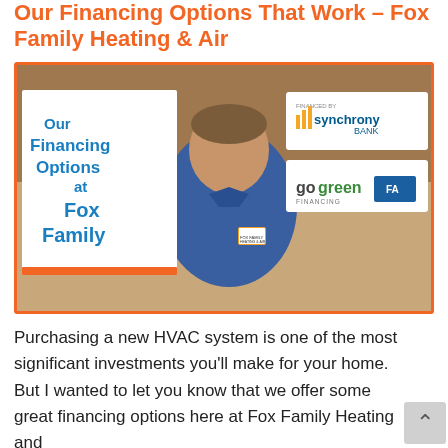Our Financing Options That Work – Fox Family Heating & Air
[Figure (photo): Video thumbnail showing a man in a blue Fox Family Heating & Air polo shirt. On the left side is a white panel with bold blue text reading 'Our Financing Options at Fox Family' with an orange underline. On the right side are logos for Synchrony Bank and GoGreen Financing.]
Purchasing a new HVAC system is one of the most significant investments you'll make for your home. But I wanted to let you know that we offer some great financing options here at Fox Family Heating and So, what follows is a few different financing solutions